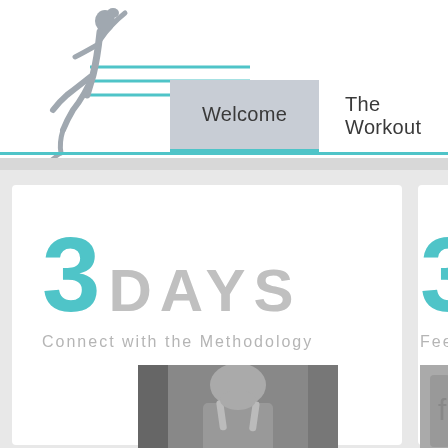[Figure (logo): Ballet dancer silhouette in gray with teal horizontal lines]
Welcome    The Workout    Sign
3 DAYS
Connect with the Methodology
[Figure (photo): Black and white selfie photo of woman in sports bra]
3 W
Feel TriTo